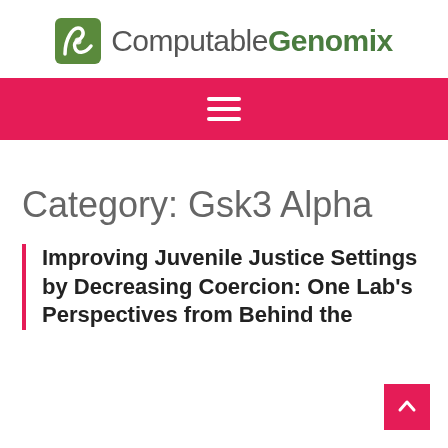[Figure (logo): Computable Genomix logo with green DNA-like icon and site name]
[Figure (infographic): Red navigation bar with white hamburger menu icon]
Category: Gsk3 Alpha
Improving Juvenile Justice Settings by Decreasing Coercion: One Lab's Perspectives from Behind the